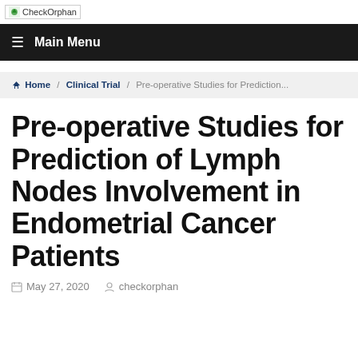CheckOrphan
Main Menu
Home / Clinical Trial / Pre-operative Studies for Prediction...
Pre-operative Studies for Prediction of Lymph Nodes Involvement in Endometrial Cancer Patients
May 27, 2020  checkorphan